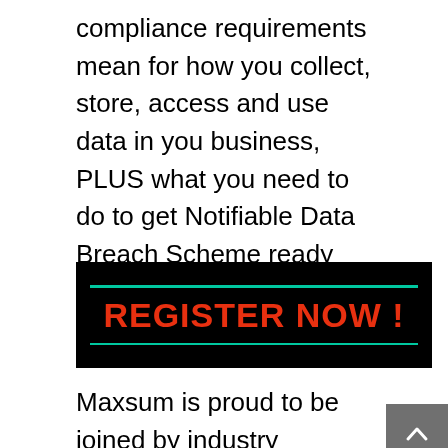compliance requirements mean for how you collect, store, access and use data in you business, PLUS what you need to do to get Notifiable Data Breach Scheme ready now!
[Figure (other): Black banner with teal horizontal lines above and below bold red text reading REGISTER NOW !]
Maxsum is proud to be joined by industry security leader and Maxsum partner Sophos, and